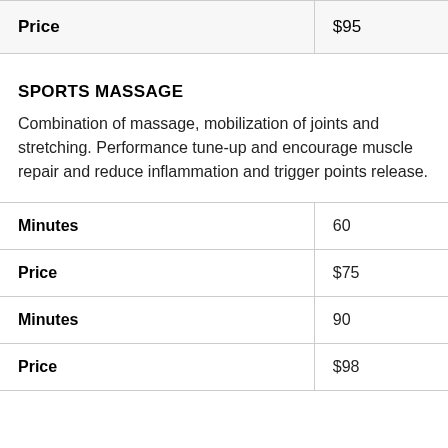| Price | $95 |
| --- | --- |
SPORTS MASSAGE
Combination of massage, mobilization of joints and stretching. Performance tune-up and encourage muscle repair and reduce inflammation and trigger points release.
| Minutes | 60 |
| --- | --- |
| Price | $75 |
| Minutes | 90 |
| Price | $98 |